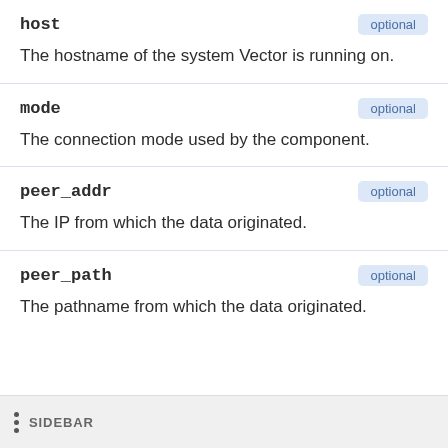host — optional
The hostname of the system Vector is running on.
mode — optional
The connection mode used by the component.
peer_addr — optional
The IP from which the data originated.
peer_path — optional
The pathname from which the data originated.
SIDEBAR